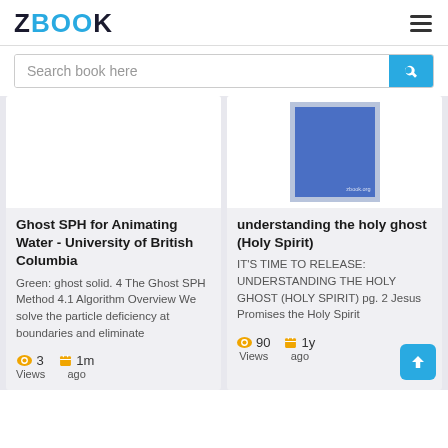ZBOOK
Search book here
[Figure (screenshot): Book card image placeholder (white) for Ghost SPH for Animating Water]
Ghost SPH for Animating Water - University of British Columbia
Green: ghost solid. 4 The Ghost SPH Method 4.1 Algorithm Overview We solve the particle deficiency at boundaries and eliminate
3 Views  1m ago
[Figure (screenshot): Book cover image - blue cover with white border showing small text and zbook.org watermark]
understanding the holy ghost (Holy Spirit)
IT'S TIME TO RELEASE: UNDERSTANDING THE HOLY GHOST (HOLY SPIRIT) pg. 2 Jesus Promises the Holy Spirit
90 Views  1y ago